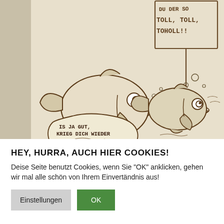[Figure (illustration): Cartoon illustration of two fish underwater. A sign/billboard in the background reads 'TOLL, TOLL, TOHOLL!!' (partially visible at top: '...DU DER SO'). The larger fish on the left has a speech bubble saying 'IS JA GUT, KRIEG DICH WIEDER EIN!' addressing the smaller fish on the right. Bubbles and water ripples are drawn around them. The style is hand-drawn sketch on a beige/tan background.]
HEY, HURRA, AUCH HIER COOKIES!
Deise Seite benutzt Cookies, wenn Sie "OK" anklicken, gehen wir mal alle schön von Ihrem Einvertändnis aus!